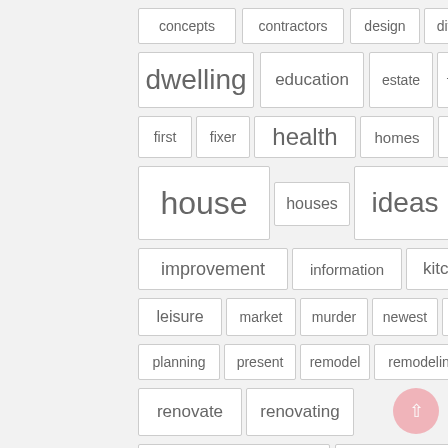[Figure (infographic): Tag cloud with words related to home renovation/real estate, each word in a bordered box sized proportionally to importance. Words include: concepts, contractors, design, division, dwelling, education, estate, fashion, first, fixer, health, homes, homicide, house, houses, ideas, improvement, information, kitchen, leisure, market, murder, newest, online, planning, present, remodel, remodeling, renovate, renovating, renovation, renovations. A pink circular back-to-top button appears in the lower right.]